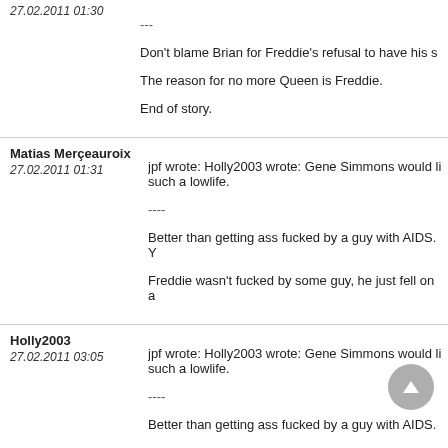27.02.2011 01:30
---
Don't blame Brian for Freddie's refusal to have his s
The reason for no more Queen is Freddie.
End of story.
Matias Merçeauroix
27.02.2011 01:31
jpf wrote: Holly2003 wrote: Gene Simmons would li such a lowlife.
----
Better than getting ass fucked by a guy with AIDS. Y Freddie wasn't fucked by some guy, he just fell on a
Holly2003
27.02.2011 03:05
jpf wrote: Holly2003 wrote: Gene Simmons would li such a lowlife.
----
Better than getting ass fucked by a guy with AIDS.
============================================
You've tried both then? lol
GratefulFan
27.02.2011 09:33
jpf wrote:
You absolutely bore me. Nothing clever, intelligent
============================================
LOL